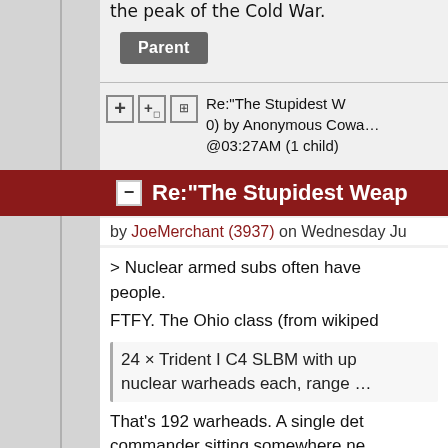the peak of the Cold War.
Parent
Re:"The Stupidest W... 0) by Anonymous Cowa... @03:27AM (1 child)
Re:"The Stupidest Weap...
by JoeMerchant (3937) on Wednesday Ju...
> Nuclear armed subs often have... people.
FTFY. The Ohio class (from wikipe...
24 × Trident I C4 SLBM with up... nuclear warheads each, range ...
That's 192 warheads. A single det... commander sitting somewhere ne... erase civilization in the US and Eu...
If you're just going for max popula... missiles can reach from the just o...
--